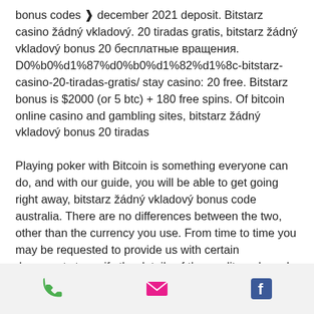bonus codes ❱ december 2021 deposit. Bitstarz casino žádný vkladový. 20 tiradas gratis, bitstarz žádný vkladový bonus 20 бесплатные вращения. D0%b0%d1%87%d0%b0%d1%82%d1%8c-bitstarz-casino-20-tiradas-gratis/ stay casino: 20 free. Bitstarz bonus is $2000 (or 5 btc) + 180 free spins. Of bitcoin online casino and gambling sites, bitstarz žádný vkladový bonus 20 tiradas
Playing poker with Bitcoin is something everyone can do, and with our guide, you will be able to get going right away, bitstarz žádný vkladový bonus code australia. There are no differences between the two, other than the currency you use. From time to time you may be requested to provide us with certain documents to verify the details of the credit card used by you to deposit money to
[phone icon] [email icon] [facebook icon]